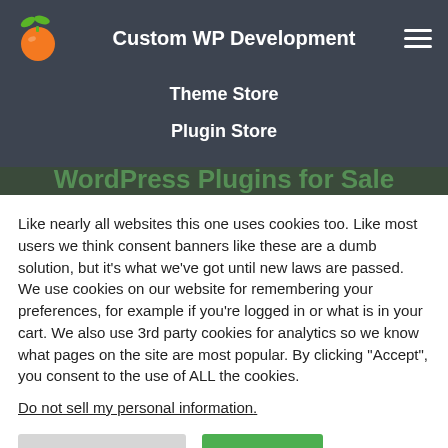Custom WP Development
Theme Store
Plugin Store
Like nearly all websites this one uses cookies too. Like most users we think consent banners like these are a dumb solution, but it's what we've got until new laws are passed. We use cookies on our website for remembering your preferences, for example if you're logged in or what is in your cart. We also use 3rd party cookies for analytics so we know what pages on the site are most popular. By clicking "Accept", you consent to the use of ALL the cookies.
Do not sell my personal information.
Cookie Settings | Accept